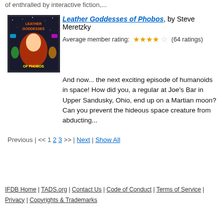or enthralled by interactive fiction,...
[Figure (illustration): Book cover for Leather Goddesses of Phobos showing colorful science fiction artwork with text on dark background]
Leather Goddesses of Phobos, by Steve Meretzky
Average member rating: ★★★★☆ (64 ratings)
And now... the next exciting episode of humanoids in space! How did you, a regular at Joe's Bar in Upper Sandusky, Ohio, end up on a Martian moon? Can you prevent the hideous space creature from abducting...
Previous | << 1 2 3 >> | Next | Show All
IFDB Home | TADS.org | Contact Us | Code of Conduct | Terms of Service | Privacy | Copyrights & Trademarks